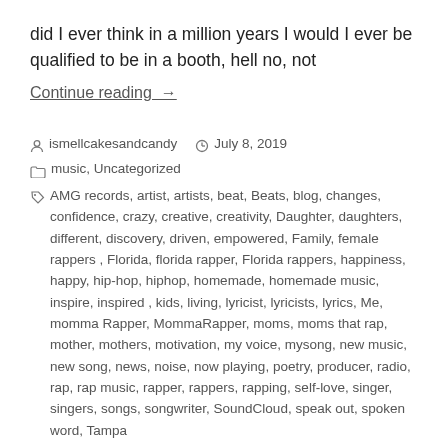did I ever think in a million years I would I ever be qualified to be in a booth, hell no, not
Continue reading →
ismellcakesandcandy   July 8, 2019
music, Uncategorized
AMG records, artist, artists, beat, Beats, blog, changes, confidence, crazy, creative, creativity, Daughter, daughters, different, discovery, driven, empowered, Family, female rappers , Florida, florida rapper, Florida rappers, happiness, happy, hip-hop, hiphop, homemade, homemade music, inspire, inspired , kids, living, lyricist, lyricists, lyrics, Me, momma Rapper, MommaRapper, moms, moms that rap, mother, mothers, motivation, my voice, mysong, new music, new song, news, noise, now playing, poetry, producer, radio, rap, rap music, rapper, rappers, rapping, self-love, singer, singers, songs, songwriter, SoundCloud, speak out, spoken word, Tampa